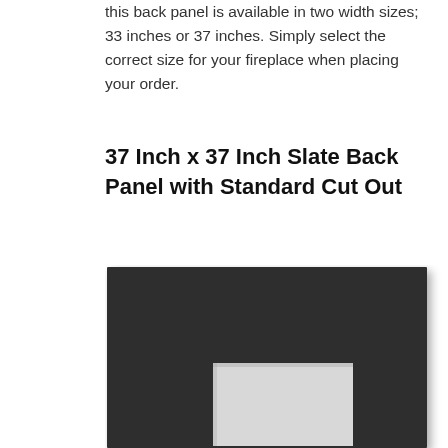this back panel is available in two width sizes; 33 inches or 37 inches. Simply select the correct size for your fireplace when placing your order.
37 Inch x 37 Inch Slate Back Panel with Standard Cut Out
[Figure (photo): A dark slate/black back panel with a standard rectangular cut-out in the lower centre, shown against a white background. The panel is square and the cut-out reveals a lighter interior.]